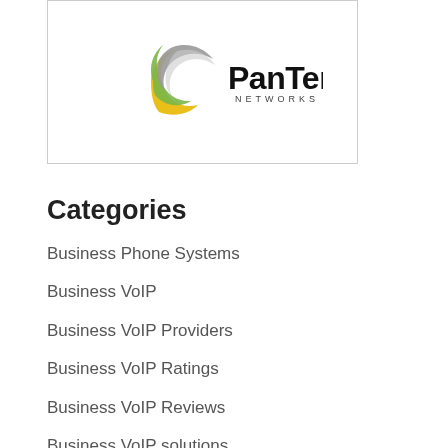[Figure (logo): PanTerra Networks logo with circular swoosh graphic in yellow, green, and gray, followed by bold text 'PanTerra' and smaller text 'NETWORKS' below.]
Categories
Business Phone Systems
Business VoIP
Business VoIP Providers
Business VoIP Ratings
Business VoIP Reviews
Business VoIP solutions
Call Center Business VoIP Solutions
Call Center Phone Systems
Call Center VoIP